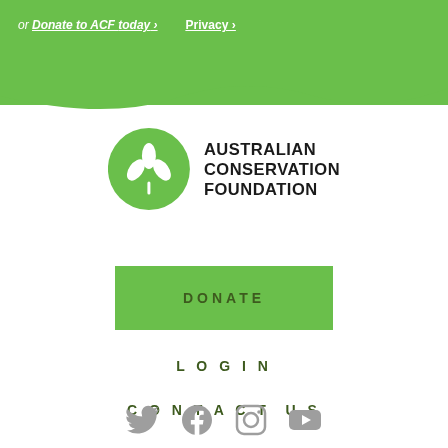or Donate to ACF today › Privacy ›
[Figure (logo): Australian Conservation Foundation logo: green circle with white leaf/plant icon, next to bold uppercase text AUSTRALIAN CONSERVATION FOUNDATION]
DONATE
LOGIN
CONTACT US
[Figure (illustration): Social media icons: Twitter, Facebook, Instagram, YouTube in grey]